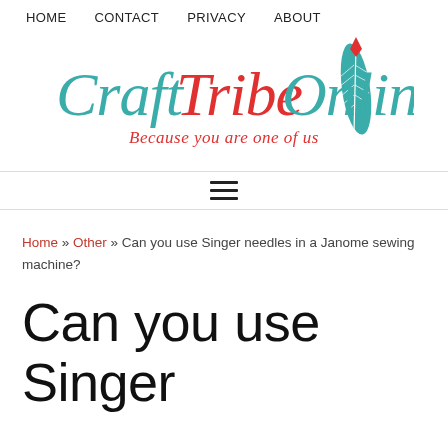HOME   CONTACT   PRIVACY   ABOUT
[Figure (logo): CraftTribeOnline logo with teal script text and red accent, tagline 'Because you are one of us']
☰ (hamburger menu icon)
Home » Other » Can you use Singer needles in a Janome sewing machine?
Can you use Singer